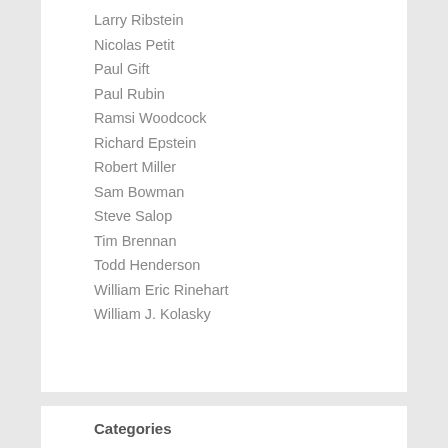Larry Ribstein
Nicolas Petit
Paul Gift
Paul Rubin
Ramsi Woodcock
Richard Epstein
Robert Miller
Sam Bowman
Steve Salop
Tim Brennan
Todd Henderson
William Eric Rinehart
William J. Kolasky
Categories